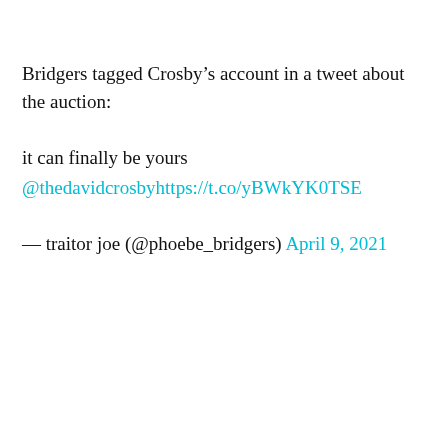Bridgers tagged Crosby’s account in a tweet about the auction:
it can finally be yours @thedavidcrosbyhttps://t.co/yBWkYK0TSE
— traitor joe (@phoebe_bridgers) April 9, 2021